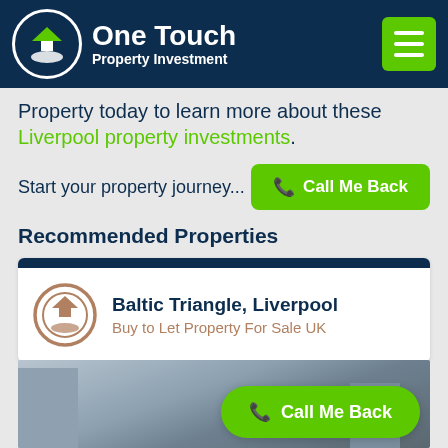One Touch Property Investment
Property today to learn more about these Liverpool property investments.
Start your property journey...
Call Me Back
Recommended Properties
Baltic Triangle, Liverpool
Buy to Let Property For Sale UK
Call Me Back